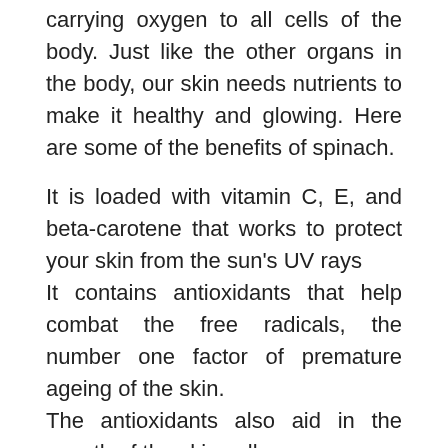carrying oxygen to all cells of the body. Just like the other organs in the body, our skin needs nutrients to make it healthy and glowing. Here are some of the benefits of spinach.
It is loaded with vitamin C, E, and beta-carotene that works to protect your skin from the sun's UV rays
It contains antioxidants that help combat the free radicals, the number one factor of premature ageing of the skin.
The antioxidants also aid in the growth of the skin cells.
The vitamin K in spinach, along with folate, helps fight inflammation that causes acne, dry itchy skin,